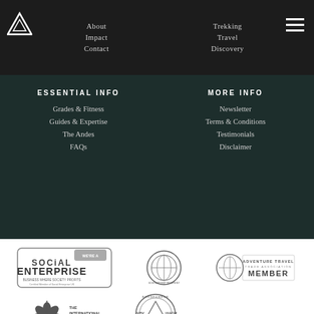About | Impact | Contact | Trekking | Travel | Discovery
ESSENTIAL INFO
Grades & Fitness
Guides & Expertise
The Andes
FAQs
MORE INFO
Newsletter
Terms & Conditions
Testimonials
Disclaimer
[Figure (logo): Social Enterprise UK certified member badge - WE'RE A SOCIAL ENTERPRISE BUSINESS WHERE SOCIETY PROFITS]
[Figure (logo): Adventure travel scholarship recipient circular badge]
[Figure (logo): Adventure Travel Trade Association MEMBER badge]
[Figure (logo): The International Ecotourism Society MEMBER badge with leaf/flower logo]
[Figure (logo): IVBY/UIAGM mountain guide association circular seal badge]